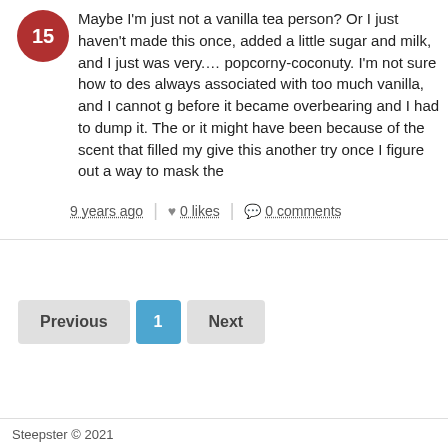Maybe I'm just not a vanilla tea person? Or I just haven't made this once, added a little sugar and milk, and I just was very.... popcorny-coconuty. I'm not sure how to describe it, always associated with too much vanilla, and I cannot get before it became overbearing and I had to dump it. The or it might have been because of the scent that filled my give this another try once I figure out a way to mask the
9 years ago | 0 likes | 0 comments
Previous 1 Next
Steepster © 2021